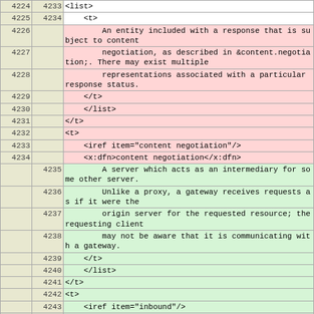| col1 | col2 | code |
| --- | --- | --- |
| 4224 | 4233 | <list> |
| 4225 | 4234 |     <t> |
| 4226 |  |         An entity included with a response that is subject to content |
| 4227 |  |         negotiation, as described in &content.negotiation;. There may exist multiple |
| 4228 |  |         representations associated with a particular response status. |
| 4229 |  |     </t> |
| 4230 |  | </list> |
| 4231 |  | </t> |
| 4232 |  | <t> |
| 4233 |  |     <iref item="content negotiation"/> |
| 4234 |  |     <x:dfn>content negotiation</x:dfn> |
|  | 4235 |         A server which acts as an intermediary for some other server. |
|  | 4236 |         Unlike a proxy, a gateway receives requests as if it were the |
|  | 4237 |         origin server for the requested resource; the requesting client |
|  | 4238 |         may not be aware that it is communicating with a gateway. |
|  | 4239 |     </t> |
|  | 4240 | </list> |
|  | 4241 | </t> |
|  | 4242 | <t> |
|  | 4243 |     <iref item="inbound"/> |
|  | 4244 |     <iref item="outbound"/> |
|  | 4245 |     <x:dfn>inbound</x:dfn>/<x:dfn>outbound</x:dfn> |
| 4235 | 4246 | <list> |
| 4236 | 4247 |     <t> |
| 4237 |  |         The mechanism for selecting the appropriate representation when |